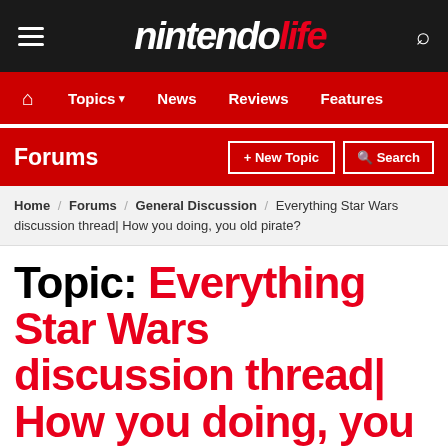Nintendo Life
Home / Topics / News / Reviews / Features
Forums + New Topic Search
Home / Forums / General Discussion / Everything Star Wars discussion thread| How you doing, you old pirate?
Topic: Everything Star Wars discussion thread| How you doing, you